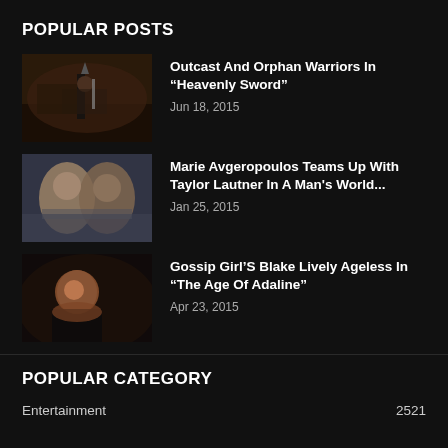POPULAR POSTS
Outcast And Orphan Warriors In “Heavenly Sword”
Jun 18, 2015
Marie Avgeropoulos Teams Up With Taylor Lautner In A Man's World...
Jan 25, 2015
Gossip Girl’S Blake Lively Ageless In “The Age Of Adaline”
Apr 23, 2015
POPULAR CATEGORY
Entertainment	2521